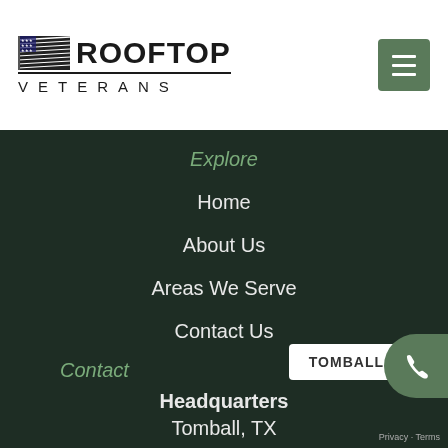[Figure (logo): Rooftop Veterans logo with American flag graphic and company name]
Explore
Home
About Us
Areas We Serve
Contact Us
Contact
Headquarters
Tomball, TX
TOMBALL
Privacy · Terms